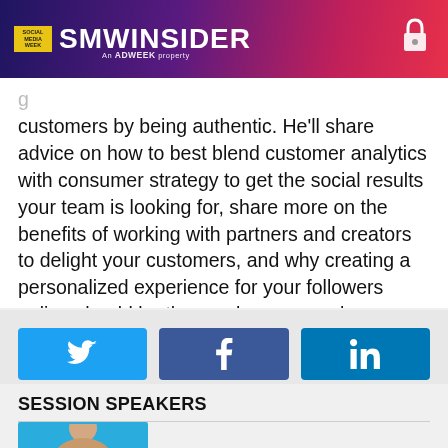SMW INSIDER — An ADWEEK property
customers by being authentic. He'll share advice on how to best blend customer analytics with consumer strategy to get the social results your team is looking for, share more on the benefits of working with partners and creators to delight your customers, and why creating a personalized experience for your followers online should be the number one goal.
[Figure (infographic): Three social media share buttons: Twitter (blue), Facebook (dark blue), LinkedIn (blue)]
SESSION SPEAKERS
[Figure (photo): Speaker headshot photo with blue background, partially visible at bottom of page]